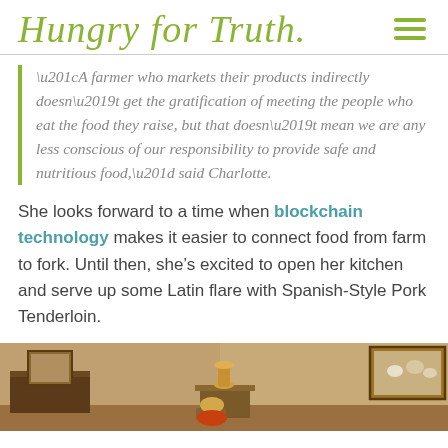Hungry for Truth
“A farmer who markets their products indirectly doesn’t get the gratification of meeting the people who eat the food they raise, but that doesn’t mean we are any less conscious of our responsibility to provide safe and nutritious food,” said Charlotte.
She looks forward to a time when blockchain technology makes it easier to connect food from farm to fork. Until then, she’s excited to open her kitchen and serve up some Latin flare with Spanish-Style Pork Tenderloin.
[Figure (photo): Interior room photo showing wooden furniture and framed pictures on the wall]